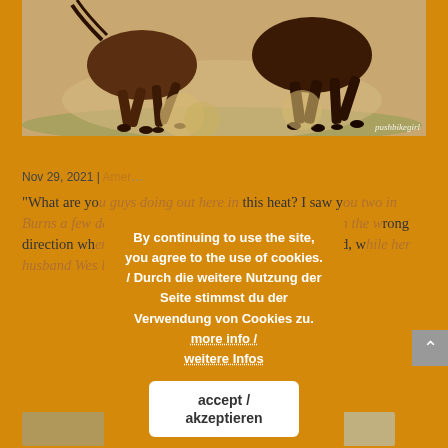[Figure (photo): Horses running with dust kicking up, photographed from low angle showing hooves and legs. Watermark: pushbikegirl]
Branding day at a ranch in Oregon
Nov 29, 2021 | America...
“What are you guys doing out here in this heat? I saw you two in Burns a few days ago. I was the woman who sent you in the wrong direction when you asked for the post office,” Mary said, while her husband Wes looked on anxiously at Butch, ... dled...
[Figure (other): Cookie consent overlay dialog with text: By continuing to use the site, you agree to the use of cookies. / Durch die weitere Nutzung der Seite stimmst du der Verwendung von Cookies zu. more info / weitere Infos [accept / akzeptieren button]]
[Figure (photo): Bottom strip of thumbnail images partially visible]